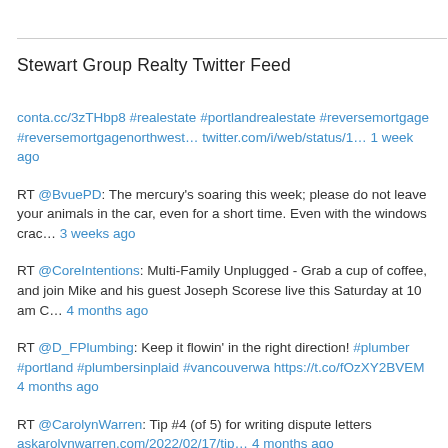Stewart Group Realty Twitter Feed
conta.cc/3zTHbp8 #realestate #portlandrealestate #reversemortgage #reversemortgagenorthwest… twitter.com/i/web/status/1… 1 week ago
RT @BvuePD: The mercury's soaring this week; please do not leave your animals in the car, even for a short time. Even with the windows crac… 3 weeks ago
RT @CoreIntentions: Multi-Family Unplugged - Grab a cup of coffee, and join Mike and his guest Joseph Scorese live this Saturday at 10 am C… 4 months ago
RT @D_FPlumbing: Keep it flowin' in the right direction! #plumber #portland #plumbersinplaid #vancouverwa https://t.co/fOzXY2BVEM 4 months ago
RT @CarolynWarren: Tip #4 (of 5) for writing dispute letters askarolynwarren.com/2022/02/17/tip… 4 months ago